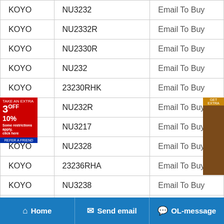| Brand | Part Number | Action |
| --- | --- | --- |
| KOYO | NU3232 | Email To Buy |
| KOYO | NU2332R | Email To Buy |
| KOYO | NU2330R | Email To Buy |
| KOYO | NU232 | Email To Buy |
| KOYO | 23230RHK | Email To Buy |
| KOYO | NU232R | Email To Buy |
| KOYO | NU3217 | Email To Buy |
| KOYO | NU2328 | Email To Buy |
| KOYO | 23236RHA | Email To Buy |
| KOYO | NU3238 | Email To Buy |
| KOYO | 23232R | Email To Buy |
Home   Send email   OL-message